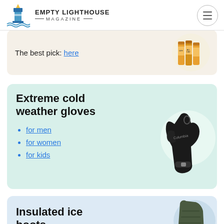EMPTY LIGHTHOUSE MAGAZINE
The best pick: here
[Figure (photo): Product photo of lip balm sticks in orange packaging]
Extreme cold weather gloves
for men
for women
for kids
[Figure (photo): Black winter mittens/gloves with Columbia branding on light mint background]
Insulated ice boots
[Figure (photo): Dark olive/green insulated ice boots partially visible]